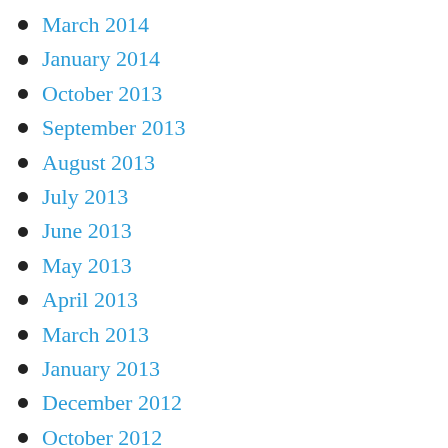March 2014
January 2014
October 2013
September 2013
August 2013
July 2013
June 2013
May 2013
April 2013
March 2013
January 2013
December 2012
October 2012
September 2012
August 2012
July 2012